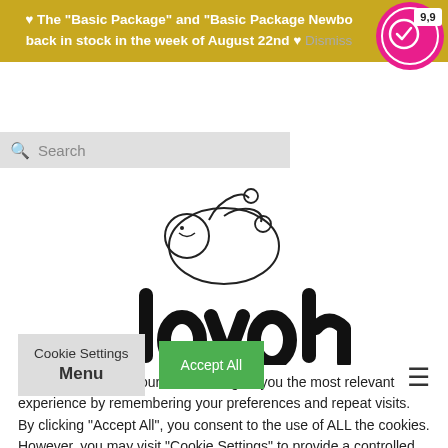♥ The "Basic Package" and "Basic Package Newborn" are back in stock in the week of August 22nd ♥ Dismiss
[Figure (logo): Circular rating badge with checkmark icon and score 9,9 on pink/magenta background]
[Figure (logo): Lovoh brand logo with illustration of baby and mother, text reads 'lovoh' in lowercase]
We use cookies on our website to give you the most relevant experience by remembering your preferences and repeat visits. By clicking "Accept All", you consent to the use of ALL the cookies. However, you may visit "Cookie Settings" to provide a controlled consent.
Cookie Settings
Accept All
Menu